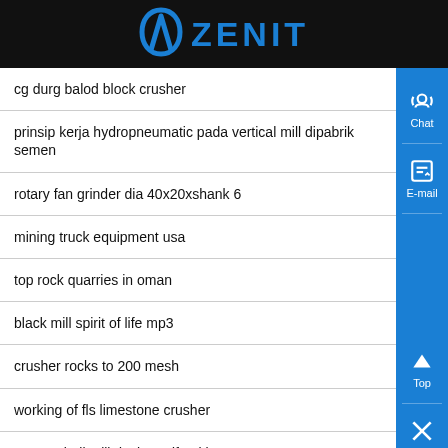[Figure (logo): Zenit company logo with blue arch icon and ZENIT text on black background]
cg durg balod block crusher
prinsip kerja hydropneumatic pada vertical mill dipabrik semen
rotary fan grinder dia 40x20xshank 6
mining truck equipment usa
top rock quarries in oman
black mill spirit of life mp3
crusher rocks to 200 mesh
working of fls limestone crusher
cement ball mill design pdf pakistan
utrasonic shaker screen machine weight 40kg
crushed rock beaumont texas false